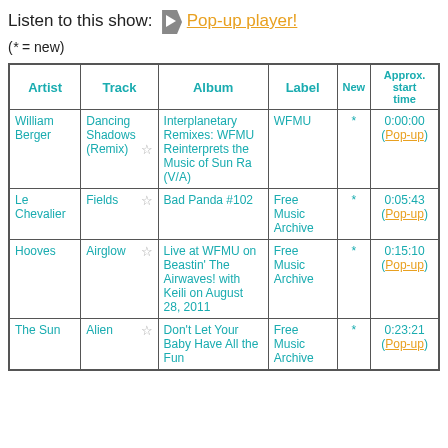Listen to this show: ▶ Pop-up player!
(* = new)
| Artist | Track | Album | Label | New | Approx. start time |
| --- | --- | --- | --- | --- | --- |
| William Berger | Dancing Shadows (Remix) | Interplanetary Remixes: WFMU Reinterprets the Music of Sun Ra (V/A) | WFMU | * | 0:00:00 (Pop-up) |
| Le Chevalier | Fields | Bad Panda #102 | Free Music Archive | * | 0:05:43 (Pop-up) |
| Hooves | Airglow | Live at WFMU on Beastin' The Airwaves! with Keili on August 28, 2011 | Free Music Archive | * | 0:15:10 (Pop-up) |
| The Sun | Alien | Don't Let Your Baby Have All the Fun | Free Music Archive | * | 0:23:21 (Pop-up) |